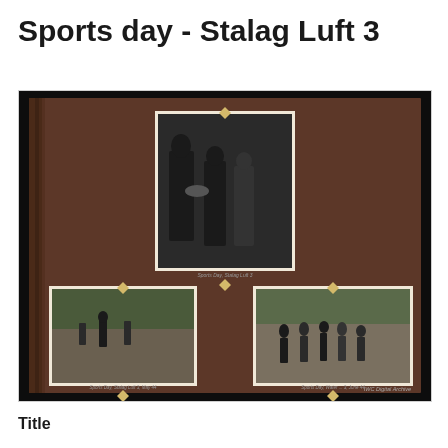Sports day - Stalag Luft 3
[Figure (photo): A scanned photo album page with brown cover showing three black-and-white photographs mounted with diamond-shaped corner holders. Top center photo shows men shaking hands or exchanging something. Bottom left shows an outdoor sports event with people on a field, trees in background. Bottom right shows a group of people running or playing sport on an open ground.]
Title